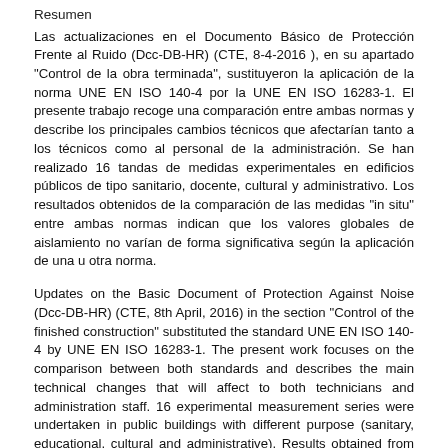Resumen
Las actualizaciones en el Documento Básico de Protección Frente al Ruido (Dcc-DB-HR) (CTE, 8-4-2016 ), en su apartado "Control de la obra terminada", sustituyeron la aplicación de la norma UNE EN ISO 140-4 por la UNE EN ISO 16283-1. El presente trabajo recoge una comparación entre ambas normas y describe los principales cambios técnicos que afectarían tanto a los técnicos como al personal de la administración. Se han realizado 16 tandas de medidas experimentales en edificios públicos de tipo sanitario, docente, cultural y administrativo. Los resultados obtenidos de la comparación de las medidas "in situ" entre ambas normas indican que los valores globales de aislamiento no varían de forma significativa según la aplicación de una u otra norma.
Updates on the Basic Document of Protection Against Noise (Dcc-DB-HR) (CTE, 8th April, 2016) in the section "Control of the finished construction" substituted the standard UNE EN ISO 140-4 by UNE EN ISO 16283-1. The present work focuses on the comparison between both standards and describes the main technical changes that will affect to both technicians and administration staff. 16 experimental measurement series were undertaken in public buildings with different purpose (sanitary, educational, cultural and administrative). Results obtained from the